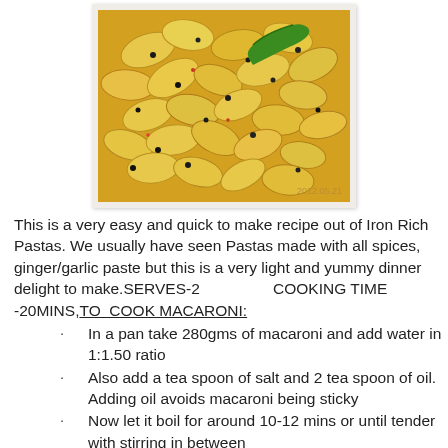[Figure (photo): A close-up photo of yellow shell pasta (macaroni) cooked with spices and a green chili, dated 2012.05.21]
This is a very easy and quick to make recipe out of Iron Rich Pastas. We usually have seen Pastas made with all spices, ginger/garlic paste but this is a very light and yummy dinner delight to make.SERVES-2                    COOKING TIME -20MINS,TO  COOK MACARONI:
In a pan take 280gms of macaroni and add water in 1:1.50 ratio
Also add a tea spoon of salt and 2 tea spoon of oil. Adding oil avoids macaroni being sticky
Now let it boil for around 10-12 mins or until tender with stirring in between
Once done strain the water completely with a strainer and show it to the cold tap water so